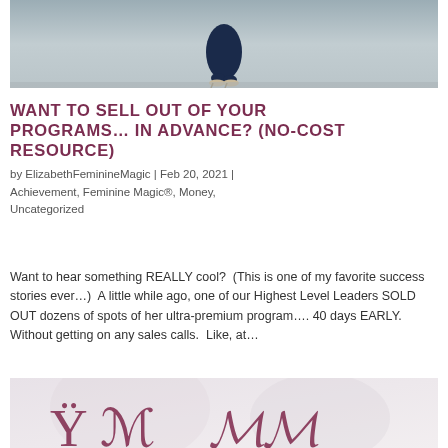[Figure (photo): Partial photo of a woman in a navy blue dress standing outdoors, cropped to show lower body and feet in heels on a paved surface with scattered leaves.]
WANT TO SELL OUT OF YOUR PROGRAMS… IN ADVANCE? (NO-COST RESOURCE)
by ElizabethFeminineMagic | Feb 20, 2021 | Achievement, Feminine Magic®, Money, Uncategorized
Want to hear something REALLY cool?  (This is one of my favorite success stories ever…)  A little while ago, one of our Highest Level Leaders SOLD OUT dozens of spots of her ultra-premium program…. 40 days EARLY.   Without getting on any sales calls.  Like, at…
[Figure (photo): Bottom portion of a decorative image with a soft pinkish-gray background and cursive script text beginning to appear at the bottom edge.]